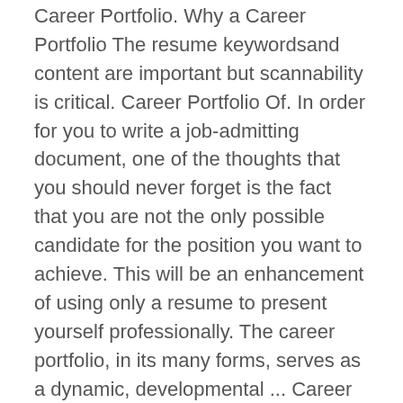Career Portfolio. Why a Career Portfolio The resume keywordsand content are important but scannability is critical. Career Portfolio Of. In order for you to write a job-admitting document, one of the thoughts that you should never forget is the fact that you are not the only possible candidate for the position you want to achieve. This will be an enhancement of using only a resume to present yourself professionally. The career portfolio, in its many forms, serves as a dynamic, developmental ... Career Portfolio is an organized collection of evidence that shows your accomplishments both in and out of school. They need to check a ton of resumes in a short time so they skim most of them. Design sheets should act as hook with the goal being to stir interest in your background and abilities-- and ultimately, your portfolio. We had an education support staff member send a note to students who